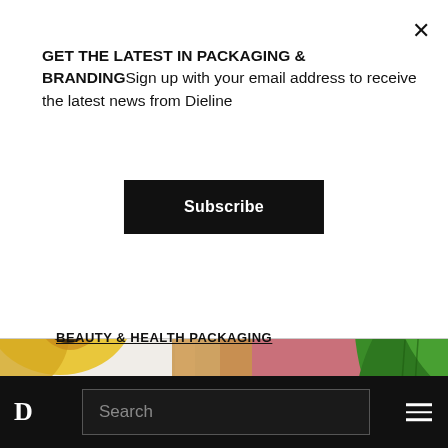GET THE LATEST IN PACKAGING & BRANDINGSign up with your email address to receive the latest news from Dieline
Subscribe
[Figure (photo): A perfume bottle with gold cap and pink label reading 'Epoque Tropical', set against a pink background with tropical floral and leaf decorations.]
BEAUTY & HEALTH PACKAGING
D  Search  ≡